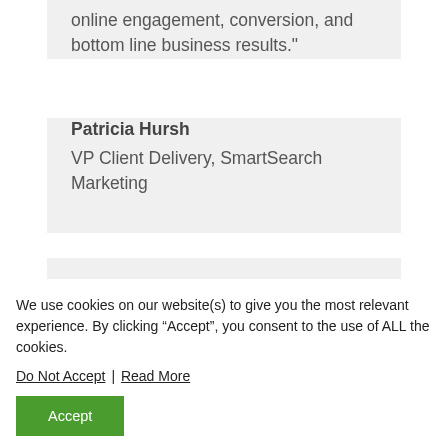online engagement, conversion, and bottom line business results."
Patricia Hursh
VP Client Delivery, SmartSearch Marketing
[Figure (photo): Circular profile photo of a person, partially visible at bottom of second card]
We use cookies on our website(s) to give you the most relevant experience. By clicking “Accept”, you consent to the use of ALL the cookies.
Do Not Accept | Read More
Accept